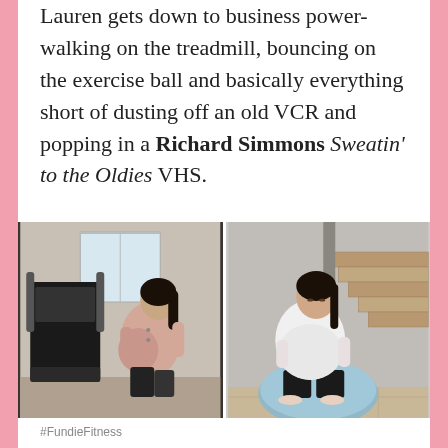Lauren gets down to business power-walking on the treadmill, bouncing on the exercise ball and basically everything short of dusting off an old VCR and popping in a Richard Simmons Sweatin' to the Oldies VHS.
[Figure (photo): Two side-by-side photos of a pregnant woman: left photo shows her power-walking on a treadmill indoors, right photo shows her sitting and bouncing on a large exercise ball near a staircase.]
#FundieFitness